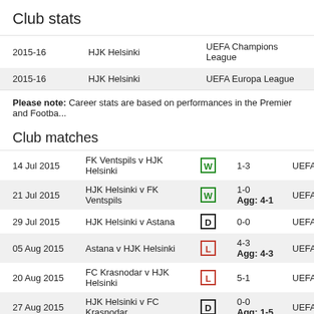Club stats
| Season | Club | Competition |
| --- | --- | --- |
| 2015-16 | HJK Helsinki | UEFA Champions League |
| 2015-16 | HJK Helsinki | UEFA Europa League |
Please note: Career stats are based on performances in the Premier and Footba...
Club matches
| Date | Match | Result | Score | Competition |
| --- | --- | --- | --- | --- |
| 14 Jul 2015 | FK Ventspils v HJK Helsinki | W | 1-3 | UEFA... |
| 21 Jul 2015 | HJK Helsinki v FK Ventspils | W | 1-0 Agg: 4-1 | UEFA... |
| 29 Jul 2015 | HJK Helsinki v Astana | D | 0-0 | UEFA... |
| 05 Aug 2015 | Astana v HJK Helsinki | L | 4-3 Agg: 4-3 | UEFA... |
| 20 Aug 2015 | FC Krasnodar v HJK Helsinki | L | 5-1 | UEFA... |
| 27 Aug 2015 | HJK Helsinki v FC Krasnodar | D | 0-0 Agg: 1-5 | UEFA... |